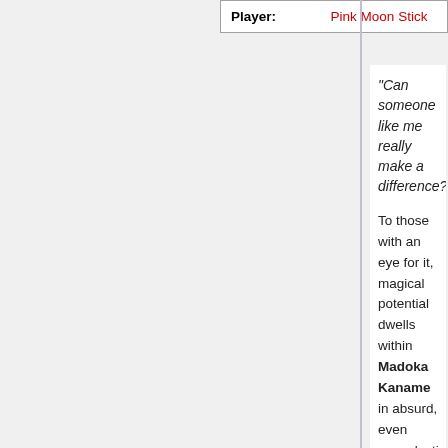| Player: | Pink Moon Stick |
| --- | --- |
"Can someone like me really make a difference?"
To those with an eye for it, magical potential dwells within Madoka Kaname in absurd, even apocalyptic quantities; the strings of fate converge upon her en masse, binding her tightly to their web of tragedy. This sense of infinite possibility is, to put it mildly, bizarre, in that Madoka is neither a notable reincarnation, destined queen nor even a mysterious orphan -- she enjoys a loving, supportive home life, and is surrounded by good friends. An ordinary, cheerful ninth-grader at Ohtori Academy, Madoka projects an air of friendly kindness, reinforced by her position as class nurse